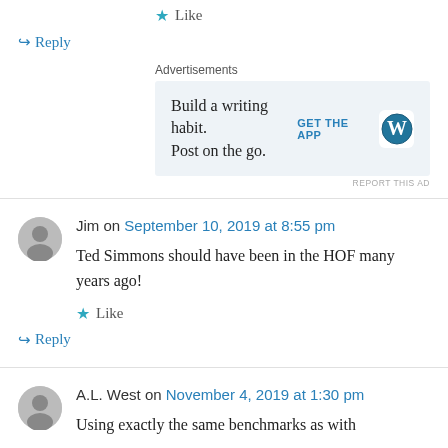★ Like
↪ Reply
[Figure (other): WordPress advertisement banner: 'Build a writing habit. Post on the go.' with GET THE APP button and WordPress logo]
Jim on September 10, 2019 at 8:55 pm
Ted Simmons should have been in the HOF many years ago!
★ Like
↪ Reply
A.L. West on November 4, 2019 at 1:30 pm
Using exactly the same benchmarks as with